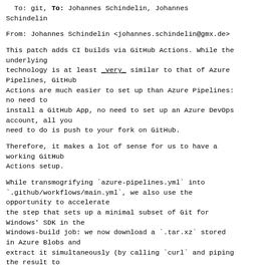To: git, To: Johannes Schindelin, Johannes Schindelin
From: Johannes Schindelin <johannes.schindelin@gmx.de>
This patch adds CI builds via GitHub Actions. While the underlying
technology is at least _very_ similar to that of Azure Pipelines, GitHub
Actions are much easier to set up than Azure Pipelines: no need to
install a GitHub App, no need to set up an Azure DevOps account, all you
need to do is push to your fork on GitHub.
Therefore, it makes a lot of sense for us to have a working GitHub
Actions setup.
While transmogrifying `azure-pipelines.yml` into
`.github/workflows/main.yml`, we also use the opportunity to accelerate
the step that sets up a minimal subset of Git for Windows' SDK in the
Windows-build job: we now download a `.tar.xz` stored in Azure Blobs and
extract it simultaneously (by calling `curl` and piping the result to
`tar`, decompressing via `xz`, all three utilities being available by
grace of using Git for Windows' Bash that is installed